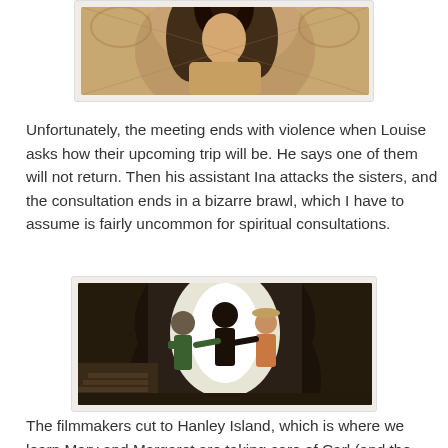[Figure (photo): A woman with long dark hair sitting in a wicker chair, wearing a light-colored garment — partial view, top portion of image cut off at top of page]
Unfortunately, the meeting ends with violence when Louise asks how their upcoming trip will be. He says one of them will not return. Then his assistant Ina attacks the sisters, and the consultation ends in a bizarre brawl, which I have to assume is fairly uncommon for spiritual consultations.
[Figure (photo): A scene showing several people in period costume in a brawl near a staircase, with dramatic curtains and bright backlit doorway]
The filmmakers cut to Hanley Island, which is where we learn Mary and Margaret are taking care of Carl (and the